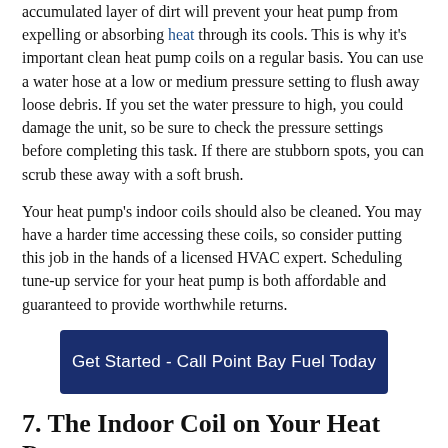accumulated layer of dirt will prevent your heat pump from expelling or absorbing heat through its cools. This is why it's important clean heat pump coils on a regular basis. You can use a water hose at a low or medium pressure setting to flush away loose debris. If you set the water pressure to high, you could damage the unit, so be sure to check the pressure settings before completing this task. If there are stubborn spots, you can scrub these away with a soft brush.
Your heat pump's indoor coils should also be cleaned. You may have a harder time accessing these coils, so consider putting this job in the hands of a licensed HVAC expert. Scheduling tune-up service for your heat pump is both affordable and guaranteed to provide worthwhile returns.
Get Started - Call Point Bay Fuel Today
7. The Indoor Coil on Your Heat Pump